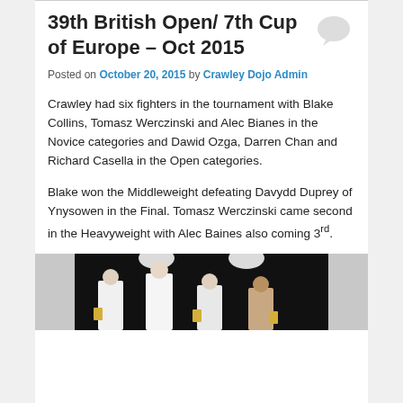39th British Open/ 7th Cup of Europe – Oct 2015
Posted on October 20, 2015 by Crawley Dojo Admin
Crawley had six fighters in the tournament with Blake Collins, Tomasz Werczinski and Alec Bianes in the Novice categories and Dawid Ozga, Darren Chan and Richard Casella in the Open categories.
Blake won the Middleweight defeating Davydd Duprey of Ynysowen in the Final. Tomasz Werczinski came second in the Heavyweight with Alec Baines also coming 3rd.
[Figure (photo): Group photo of fighters in white karate uniforms on a dark background, some holding trophies]